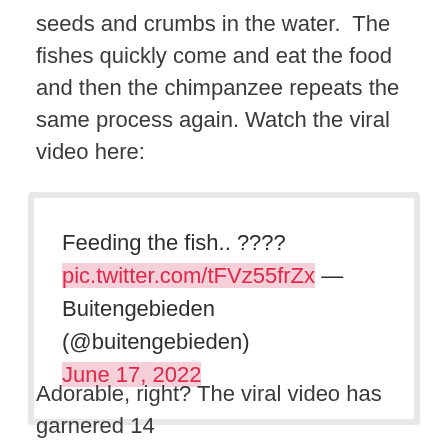seeds and crumbs in the water.  The fishes quickly come and eat the food and then the chimpanzee repeats the same process again. Watch the viral video here:
[Figure (screenshot): Embedded tweet box with text: 'Feeding the fish.. ???? pic.twitter.com/tFVz55frZx — Buitengebieden (@buitengebieden) June 17, 2022']
Adorable, right? The viral video has garnered 14